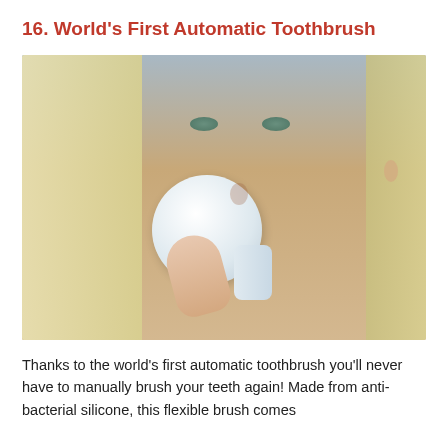16. World's First Automatic Toothbrush
[Figure (photo): Close-up photo of a blonde woman holding a white circular automatic toothbrush device up to her mouth with her finger, looking slightly upward.]
Thanks to the world's first automatic toothbrush you'll never have to manually brush your teeth again! Made from anti-bacterial silicone, this flexible brush comes